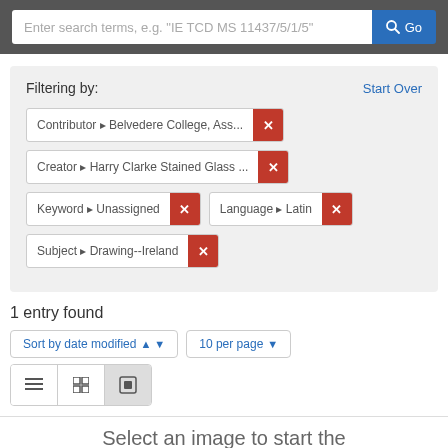[Figure (screenshot): Search bar with placeholder text and Go button]
Filtering by:
Start Over
Contributor ▸ Belvedere College, Ass... ✕
Creator ▸ Harry Clarke Stained Glass ... ✕
Keyword ▸ Unassigned ✕
Language ▸ Latin ✕
Subject ▸ Drawing--Ireland ✕
1 entry found
Sort by date modified ▲ ▼   10 per page ▼
Select an image to start the